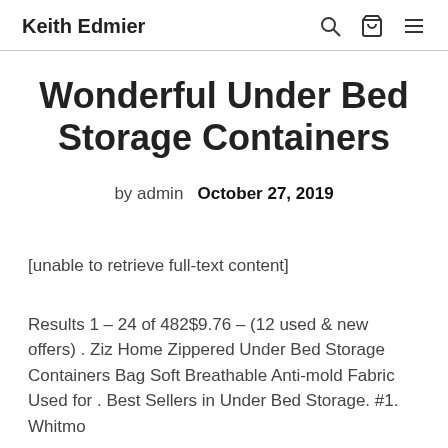Keith Edmier
Wonderful Under Bed Storage Containers
by admin  October 27, 2019
[unable to retrieve full-text content]
Results 1 – 24 of 482$9.76 – (12 used & new offers) . Ziz Home Zippered Under Bed Storage Containers Bag Soft Breathable Anti-mold Fabric Used for . Best Sellers in Under Bed Storage. #1. Whitmo